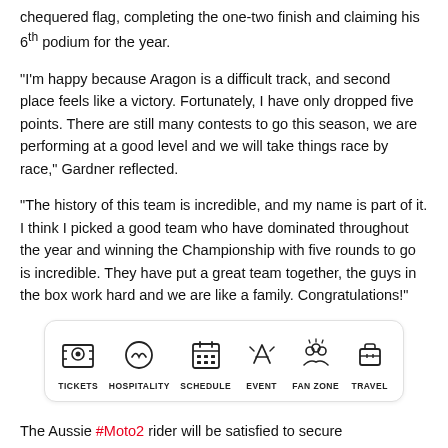chequered flag, completing the one-two finish and claiming his 6th podium for the year.
“I’m happy because Aragon is a difficult track, and second place feels like a victory. Fortunately, I have only dropped five points. There are still many contests to go this season, we are performing at a good level and we will take things race by race,” Gardner reflected.
“The history of this team is incredible, and my name is part of it. I think I picked a good team who have dominated throughout the year and winning the Championship with five rounds to go is incredible. They have put a great team together, the guys in the box work hard and we are like a family. Congratulations!”
[Figure (infographic): Navigation icon bar with six icons: TICKETS, HOSPITALITY, SCHEDULE, EVENT, FAN ZONE, TRAVEL]
The Aussie #Moto2 rider will be satisfied to secure